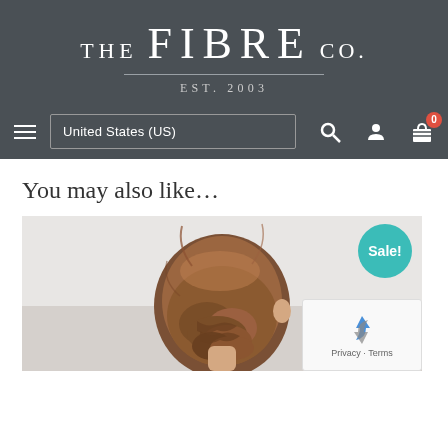THE FIBRE CO. EST. 2003
United States (US)
You may also like…
[Figure (photo): Photo of a woman seen from behind with braided updo hair against a light background, with a teal Sale! badge overlay and a reCAPTCHA widget in the lower right corner]